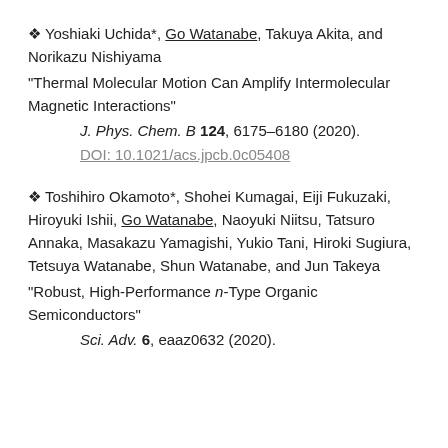❖ Yoshiaki Uchida*, Go Watanabe, Takuya Akita, and Norikazu Nishiyama "Thermal Molecular Motion Can Amplify Intermolecular Magnetic Interactions" J. Phys. Chem. B 124, 6175–6180 (2020). DOI: 10.1021/acs.jpcb.0c05408
❖ Toshihiro Okamoto*, Shohei Kumagai, Eiji Fukuzaki, Hiroyuki Ishii, Go Watanabe, Naoyuki Niitsu, Tatsuro Annaka, Masakazu Yamagishi, Yukio Tani, Hiroki Sugiura, Tetsuya Watanabe, Shun Watanabe, and Jun Takeya "Robust, High-Performance n-Type Organic Semiconductors" Sci. Adv. 6, eaaz0632 (2020).